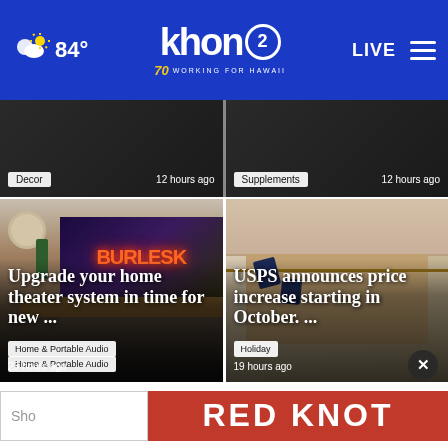84° khon2 WORKING FOR HAWAII LIVE
[Figure (screenshot): Top row partial article cards: Decor 12 hours ago | Supplements 12 hours ago]
Decor · 12 hours ago
Supplements · 12 hours ago
[Figure (photo): Home theater setup with TV showing burlesque show advertisement]
Upgrade your home theater system in time for new ...
Home & Portable Audio · 23 hours ago
[Figure (photo): Hands wrapping a gift with twine and gift tags]
USPS announces price increase starting in October. ...
Holiday · 19 hours ago
[Figure (logo): RED KNOT advertisement banner in red with white text]